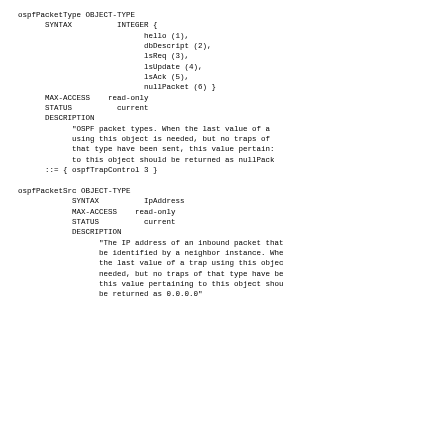ospfPacketType OBJECT-TYPE
      SYNTAX          INTEGER {
                        hello (1),
                        dbDescript (2),
                        lsReq (3),
                        lsUpdate (4),
                        lsAck (5),
                        nullPacket (6) }
      MAX-ACCESS    read-only
      STATUS          current
      DESCRIPTION
            "OSPF packet types. When the last value of a
            using this object is needed, but no traps of
            that type have been sent, this value pertains
            to this object should be returned as nullPack
      ::= { ospfTrapControl 3 }
ospfPacketSrc OBJECT-TYPE
            SYNTAX          IpAddress
            MAX-ACCESS    read-only
            STATUS          current
            DESCRIPTION
                  "The IP address of an inbound packet that
                  be identified by a neighbor instance. Whe
                  the last value of a trap using this objec
                  needed, but no traps of that type have be
                  this value pertaining to this object shou
                  be returned as 0.0.0.0"